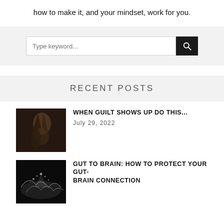how to make it, and your mindset, work for you.
[Figure (screenshot): Search box with placeholder text 'Type keyword...' and a dark search button with magnifying glass icon]
RECENT POSTS
[Figure (photo): Dark photo of a person with long hair, likely a woman, in a dimly lit scene]
WHEN GUILT SHOWS UP DO THIS...
July 29, 2022
[Figure (photo): Dark photo with water splash or wave effect]
GUT TO BRAIN: HOW TO PROTECT YOUR GUT-BRAIN CONNECTION